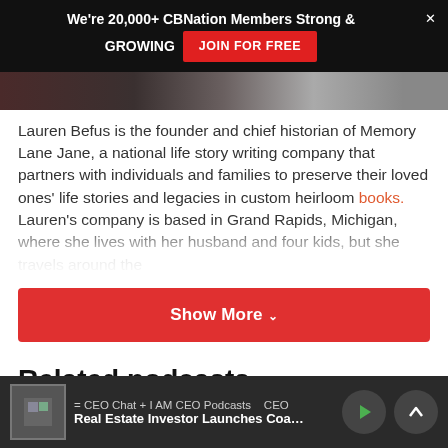We're 20,000+ CBNation Members Strong & GROWING  JOIN FOR FREE
[Figure (photo): Partial image strip showing people, cropped at top]
Lauren Befus is the founder and chief historian of Memory Lane Jane, a national life story writing company that partners with individuals and families to preserve their loved ones' life stories and legacies in custom heirloom books. Lauren's company is based in Grand Rapids, Michigan, where she lives with her husband and four kids, but she travels around the
Show More
Related podcasts
= CEO Chat + I AM CEO Podcasts   CEO   Real Estate Investor Launches Coa…